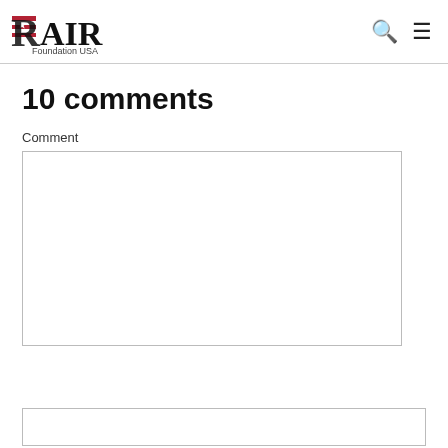RAIR Foundation USA
10 comments
Comment
[Figure (screenshot): Empty comment textarea input box]
[Figure (screenshot): Red DONATE button]
[Figure (screenshot): Empty text input box at bottom]